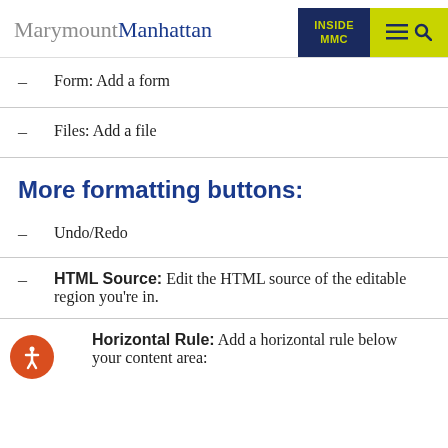MarymountManhattan | INSIDE MMC
Form: Add a form
Files: Add a file
More formatting buttons:
Undo/Redo
HTML Source: Edit the HTML source of the editable region you're in.
Horizontal Rule: Add a horizontal rule below your content area: